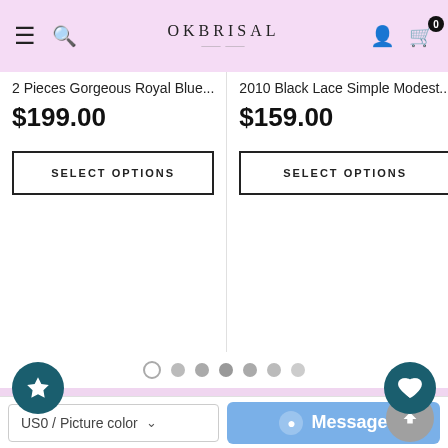OkBrisal navigation bar with hamburger, search, logo, account and cart (0) icons
2 Pieces Gorgeous Royal Blue...
$199.00
SELECT OPTIONS
2010 Black Lace Simple Modest...
$159.00
SELECT OPTIONS
SHOP
INFORMATION
CUSTOMER SERVICE
US0 / Picture color
Message